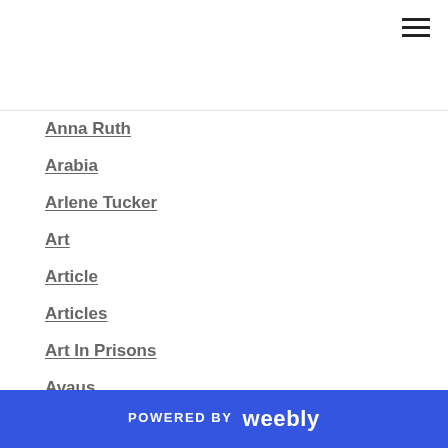Anna Ruth
Arabia
Arlene Tucker
Art
Article
Articles
Art In Prisons
Avaus
Bokvilla
Bokvillan
Book
Breaking The Fifth Wall
Brooklyn
Caisa
Caroline Swinner
POWERED BY weebly